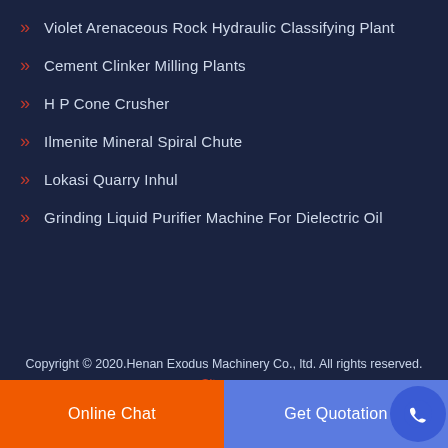Violet Arenaceous Rock Hydraulic Classifying Plant
Cement Clinker Milling Plants
H P Cone Crusher
Ilmenite Mineral Spiral Chute
Lokasi Quarry Inhul
Grinding Liquid Purifier Machine For Dielectric Oil
Copyright © 2020.Henan Exodus Machinery Co., ltd. All rights reserved. Sitemap